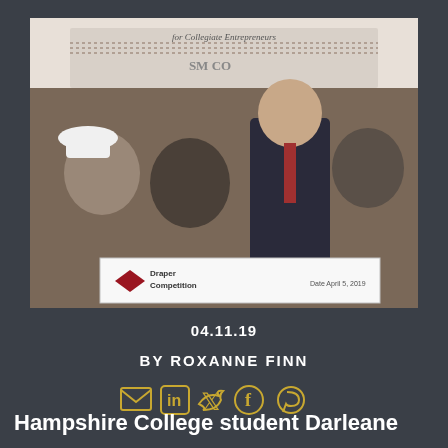[Figure (photo): Four people standing together holding a large Draper Competition check dated April 5, 2019. One woman on the left wears a white hard hat. Two men in suits stand in the middle. A woman in a black t-shirt stands on the right. Background shows a banner for collegiate entrepreneurs.]
04.11.19
BY ROXANNE FINN
[Figure (infographic): Row of five social media icons in gold/yellow outline style: email/envelope, LinkedIn, Twitter, Facebook, Pinterest]
Hampshire College student Darleane